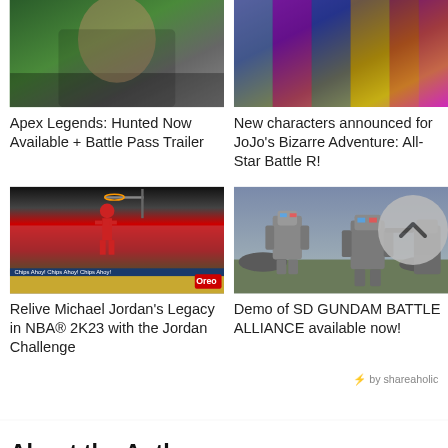[Figure (photo): Apex Legends game screenshot thumbnail (top, cropped off top of page)]
Apex Legends: Hunted Now Available + Battle Pass Trailer
[Figure (photo): JoJo's Bizarre Adventure All-Star Battle R character art thumbnail (top, cropped off top of page)]
New characters announced for JoJo's Bizarre Adventure: All-Star Battle R!
[Figure (photo): NBA 2K23 basketball gameplay screenshot showing Michael Jordan dunking]
Relive Michael Jordan's Legacy in NBA® 2K23 with the Jordan Challenge
[Figure (photo): SD GUNDAM BATTLE ALLIANCE gameplay screenshot with robot mechs]
Demo of SD GUNDAM BATTLE ALLIANCE available now!
⚡ by shareaholic
About the Author
[Figure (photo): Blue square avatar with white stylized logo for author Adrian Gunning]
Adrian Gunning Adrian lives in Melbourne, Australia and has a